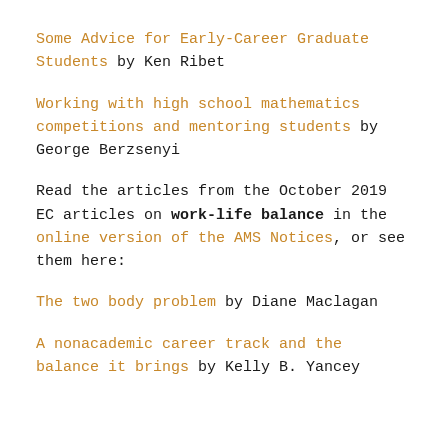Some Advice for Early-Career Graduate Students by Ken Ribet
Working with high school mathematics competitions and mentoring students by George Berzsenyi
Read the articles from the October 2019 EC articles on work-life balance in the online version of the AMS Notices, or see them here:
The two body problem by Diane Maclagan
A nonacademic career track and the balance it brings by Kelly B. Yancey